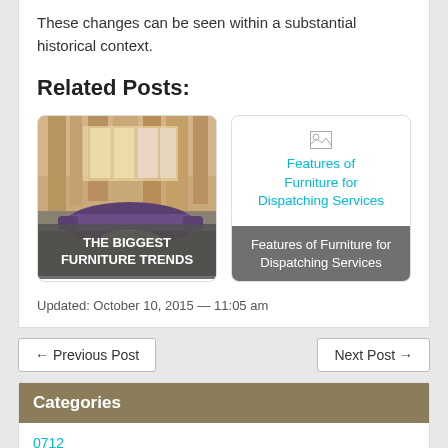These changes can be seen within a substantial historical context.
Related Posts:
[Figure (photo): Interior photo of a large modern living room with purple sofas and high ceilings. Overlaid text: THE BIGGEST FURNITURE TRENDS]
[Figure (other): Broken image placeholder with cyan link text: Features of Furniture for Dispatching Services. Below: dark bar with text 'Features of Furniture for Dispatching Services']
Updated: October 10, 2015 — 11:05 am
← Previous Post
Next Post →
Categories
0712